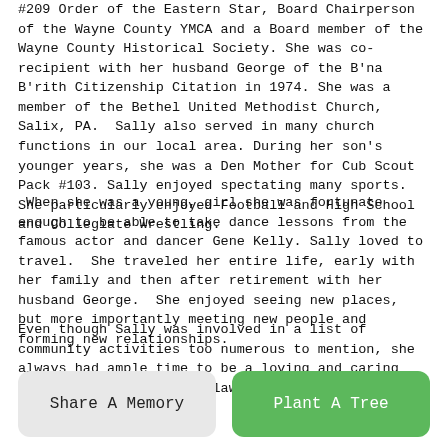#209 Order of the Eastern Star, Board Chairperson of the Wayne County YMCA and a Board member of the Wayne County Historical Society. She was co-recipient with her husband George of the B'na B'rith Citizenship Citation in 1974. She was a member of the Bethel United Methodist Church, Salix, PA.  Sally also served in many church functions in our local area. During her son's younger years, she was a Den Mother for Cub Scout Pack #103. Sally enjoyed spectating many sports.  She particularly enjoyed Football and High School and Collegiate Wrestling.
When she was a young, girl she was fortunate enough to be able to take dance lessons from the famous actor and dancer Gene Kelly. Sally loved to travel.  She traveled her entire life, early with her family and then after retirement with her husband George.  She enjoyed seeing new places, but more importantly meeting new people and forming new relationships.
Even though Sally was involved in a list of community activities too numerous to mention, she always had ample time to be a loving and caring wife, mother, mother-in-law and grandmother.
Share A Memory
Plant A Tree